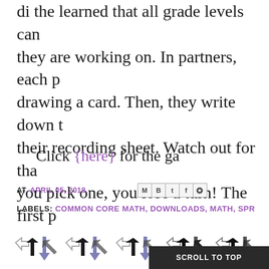di the learned that all grade levels can they are working on. In partners, each p drawing a card. Then, they write down t their recording sheet. Watch out for tha you pick one, you lose a turn! The first p sheet is the winner!
Click {here} for the ga
AT APRIL 05, 2018
LABELS: COMMON CORE MATH, DOWNLOADS, MATH, SPR
[Figure (other): Row of decorative arrow icons followed by SCROLL TO TOP button]